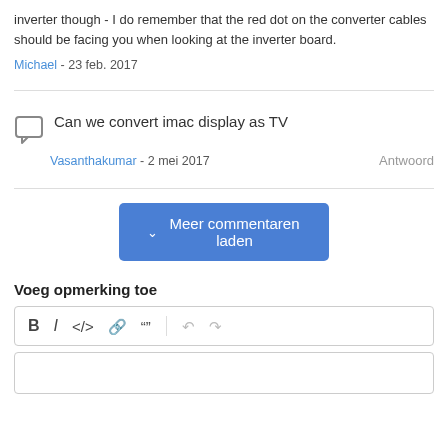inverter though - I do remember that the red dot on the converter cables should be facing you when looking at the inverter board.
Michael - 23 feb. 2017
Can we convert imac display as TV
Vasanthakumar - 2 mei 2017   Antwoord
Meer commentaren laden
Voeg opmerking toe